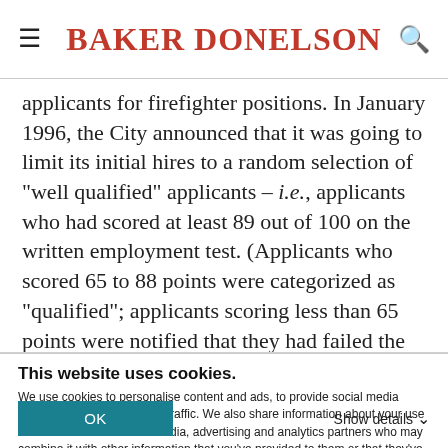BAKER DONELSON
applicants for firefighter positions. In January 1996, the City announced that it was going to limit its initial hires to a random selection of "well qualified" applicants – i.e., applicants who had scored at least 89 out of 100 on the written employment test. (Applicants who scored 65 to 88 points were categorized as "qualified"; applicants scoring less than 65 points were notified that they had failed the test.) The City conducted eleven rounds of
This website uses cookies.
We use cookies to personalise content and ads, to provide social media features and to analyse our traffic. We also share information about your use of our site with our social media, advertising and analytics partners who may combine it with other information that you've provided to them or that they've collected from your use of their services. You consent to our cookies if you continue to use our website.
OK
Show details